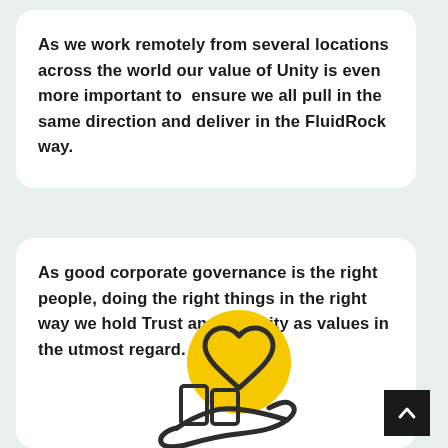As we work remotely from several locations across the world our value of Unity is even more important to ensure we all pull in the same direction and deliver in the FluidRock way.
As good corporate governance is the right people, doing the right things in the right way we hold Trust and Integrity as values in the utmost regard.
[Figure (illustration): Illustration of a hand holding a phone or card with a yellow heart circle and a dark outlined heart shape above it, representing trust and integrity.]